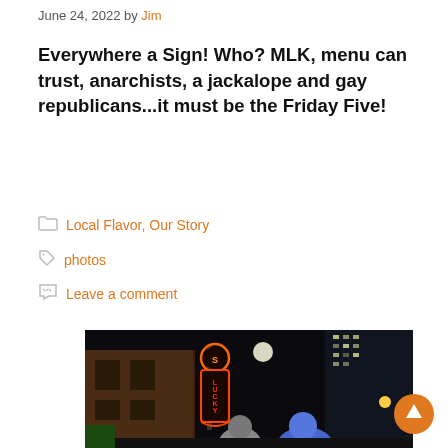June 24, 2022 by Jim
Everywhere a Sign! Who? MLK, menu can trust, anarchists, a jackalope and gay republicans...it must be the Friday Five!
Local Flavor, Our Story
photos
Leave a comment
[Figure (photo): Night street scene with a neon Lucky sign on a building facade, a full moon visible, city buildings in background, people in foreground including one in a blue costume]